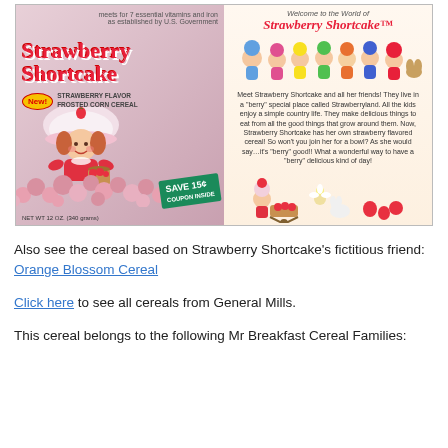[Figure (photo): Strawberry Shortcake cereal box (left panel showing box front with character and pink cereal pieces, 'SAVE 15¢' badge, 'New' badge, 'STRAWBERRY FLAVOR FROSTED CORN CEREAL' text) and advertisement panel (right panel: 'Welcome to the World of Strawberry Shortcake' with cartoon characters and descriptive text about Strawberryland)]
Also see the cereal based on Strawberry Shortcake's fictitious friend: Orange Blossom Cereal
Click here to see all cereals from General Mills.
This cereal belongs to the following Mr Breakfast Cereal Families: